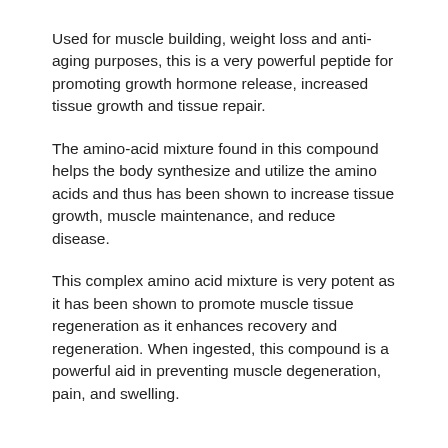Used for muscle building, weight loss and anti-aging purposes, this is a very powerful peptide for promoting growth hormone release, increased tissue growth and tissue repair.
The amino-acid mixture found in this compound helps the body synthesize and utilize the amino acids and thus has been shown to increase tissue growth, muscle maintenance, and reduce disease.
This complex amino acid mixture is very potent as it has been shown to promote muscle tissue regeneration as it enhances recovery and regeneration. When ingested, this compound is a powerful aid in preventing muscle degeneration, pain, and swelling.